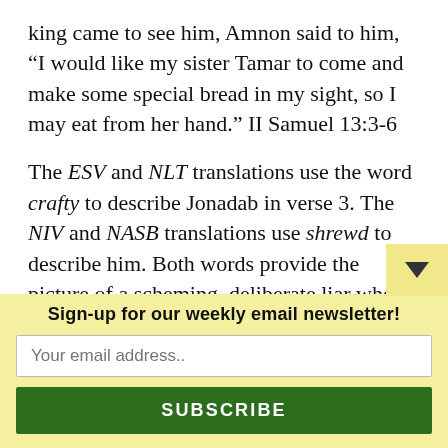king came to see him, Amnon said to him, “I would like my sister Tamar to come and make some special bread in my sight, so I may eat from her hand.” II Samuel 13:3-6
The ESV and NLT translations use the word crafty to describe Jonadab in verse 3. The NIV and NASB translations use shrewd to describe him. Both words provide the picture of a scheming, deliberate liar who is following a selfish agenda. In this passage Jonadab lies to obtain favor with a member of the royal family—no doubt an attempt to advance his own status. Amnon embraces the lie as a means to satisfy his raging lus… is why lying is so despicable and dangerous. This si…
Sign-up for our weekly email newsletter!
Your email address..
SUBSCRIBE